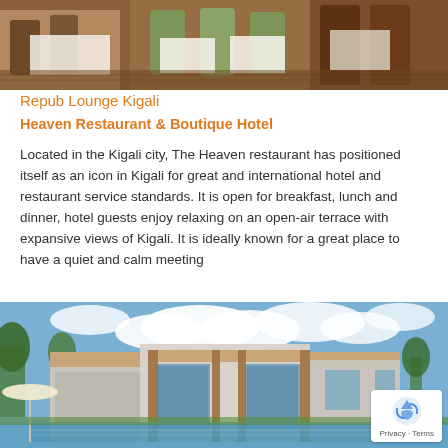[Figure (photo): Interior photo of a restaurant with wooden chairs, white tablecloths, and warm lighting]
Repub Lounge Kigali
Heaven Restaurant & Boutique Hotel
Located in the Kigali city, The Heaven restaurant has positioned itself as an icon in Kigali for great and international hotel and restaurant service standards. It is open for breakfast, lunch and dinner, hotel guests enjoy relaxing on an open-air terrace with expansive views of Kigali. It is ideally known for a great place to have a quiet and calm meeting
[Figure (photo): Exterior photo of Heaven Boutique Hotel with modern architecture, blue sky with clouds, and a swimming pool in front]